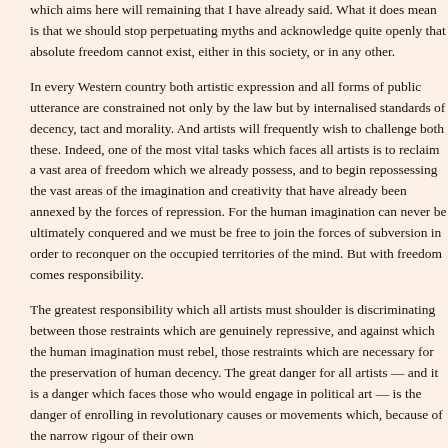said. What it does mean is that we should stop perpetuating myths and acknowledge quite openly that absolute freedom cannot exist, either in this society, or in any other.
In every Western country both artistic expression and all forms of public utterance are constrained not only by the law but by internalised standards of decency, tact and morality. And artists will frequently wish to challenge both these. Indeed, one of the most vital tasks which faces all artists is to reclaim a vast area of freedom which we already possess, and to begin repossessing the vast areas of the imagination and creativity that have already been annexed by the forces of repression. For the human imagination can never be ultimately conquered and we must be free to join the forces of subversion in order to reconquer on the occupied territories of the mind. But with freedom comes responsibility.
The greatest responsibility which all artists must shoulder is discriminating between those restraints which are genuinely repressive, and against which the human imagination must rebel, those restraints which are necessary for the preservation of human decency. The great danger for all artists — and it is a danger which faces those who would engage in political art — is the danger of enrolling in revolutionary causes or movements which, because of the narrow rigour of their own